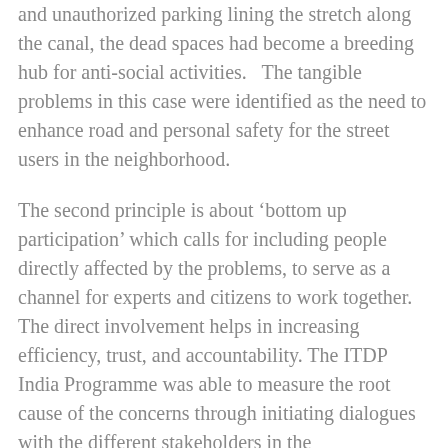and unauthorized parking lining the stretch along the canal, the dead spaces had become a breeding hub for anti-social activities.   The tangible problems in this case were identified as the need to enhance road and personal safety for the street users in the neighborhood.
The second principle is about ‘bottom up participation’ which calls for including people directly affected by the problems, to serve as a channel for experts and citizens to work together. The direct involvement helps in increasing efficiency, trust, and accountability. The ITDP India Programme was able to measure the root cause of the concerns through initiating dialogues with the different stakeholders in the neighborhood. Those who faced the brunt were frequent users of the street, which were the local residents and the students and teachers of the neighboring school. The different layers of the problem were gradually unwrapped through site visits and